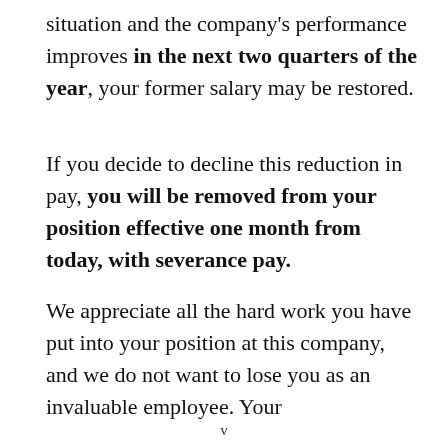situation and the company's performance improves in the next two quarters of the year, your former salary may be restored.
If you decide to decline this reduction in pay, you will be removed from your position effective one month from today, with severance pay.
We appreciate all the hard work you have put into your position at this company, and we do not want to lose you as an invaluable employee. Your
v